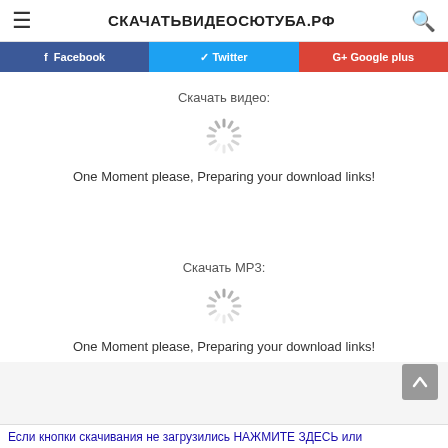СКАЧАТЬВИДЕОСЮТУБА.РФ
[Figure (infographic): Social share bar with Facebook (blue), Twitter (cyan), Google plus (red) buttons]
Скачать видео:
[Figure (other): Loading spinner animation]
One Moment please, Preparing your download links!
Скачать MP3:
[Figure (other): Loading spinner animation]
One Moment please, Preparing your download links!
Если кнопки скачивания не загрузились НАЖМИТЕ ЗДЕСЬ или